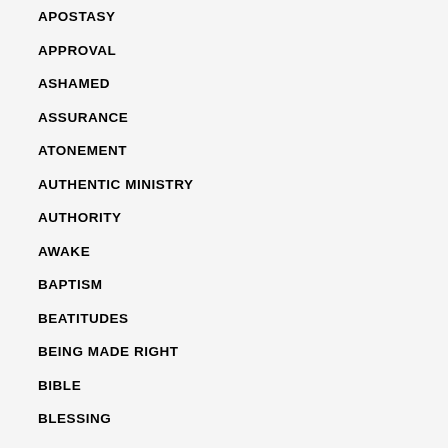APOSTASY
APPROVAL
ASHAMED
ASSURANCE
ATONEMENT
AUTHENTIC MINISTRY
AUTHORITY
AWAKE
BAPTISM
BEATITUDES
BEING MADE RIGHT
BIBLE
BLESSING
BLINDNESS
BODY OF CHRIST